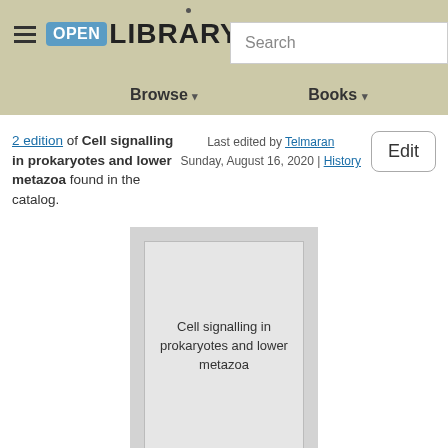Open Library — Browse | Books | Search
2 edition of Cell signalling in prokaryotes and lower metazoa found in the catalog.
Last edited by Telmaran
Sunday, August 16, 2020 | History
[Figure (illustration): Book cover placeholder showing 'Cell signalling in prokaryotes and lower metazoa' text on a grey background card]